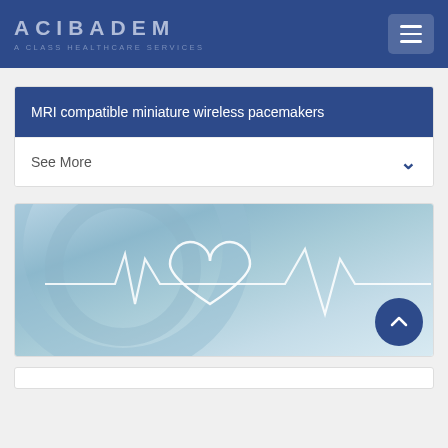ACIBADEM A CLASS HEALTHCARE SERVICES
MRI compatible miniature wireless pacemakers
See More
[Figure (photo): Medical background image showing a stethoscope with a white heart and ECG/heartbeat line overlay on a blue-tinted background]